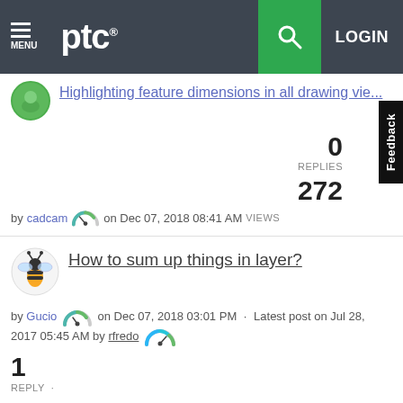PTC | MENU | LOGIN
Highlighting feature dimensions in all drawing vie...
0
REPLIES
272
by cadcam on Dec 07, 2018 08:41 AM VIEWS
How to sum up things in layer?
by Gucio on Dec 07, 2018 03:01 PM · Latest post on Jul 28, 2017 05:45 AM by rfredo
1
REPLY ·
792
VIEWS